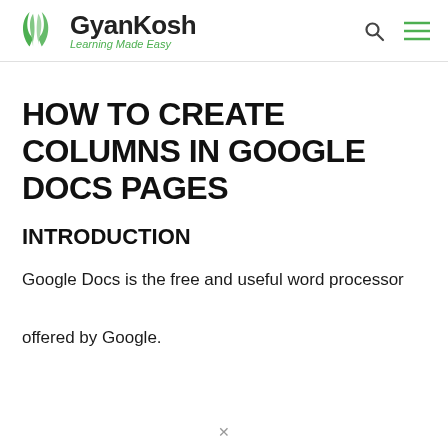GyanKosh Learning Made Easy
HOW TO CREATE COLUMNS IN GOOGLE DOCS PAGES
INTRODUCTION
Google Docs is the free and useful word processor offered by Google.